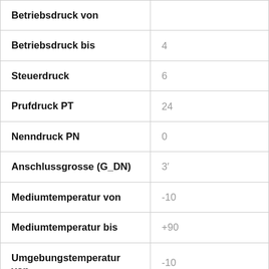| Parameter | Wert |
| --- | --- |
| Betriebsdruck von |  |
| Betriebsdruck bis | 4 |
| Steuerdruck | 6 |
| Prufdruck PT | 24 |
| Nenndruck PN | 0 |
| Anschlussgrosse (G_DN) | 3′ |
| Mediumtemperatur von | -10 |
| Mediumtemperatur bis | +90 |
| Umgebungstemperatur von | -10 |
| Umgebungstemperatur |  |